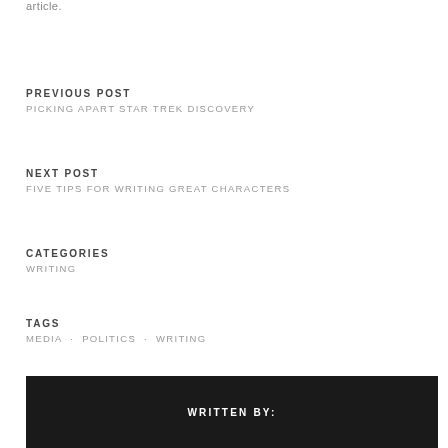article.
PREVIOUS POST
PICKING APART STAR TREK DISCOVERY
NEXT POST
FIVE TIPS FOR WRITING GREAT CHARACTERS
CATEGORIES
WRITING
TAGS
MEDIA · POLITICS · WRITING
WRITTEN BY: